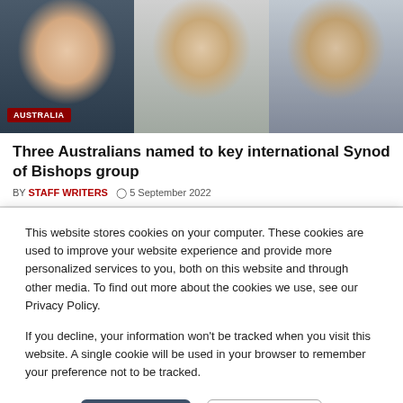[Figure (photo): Three headshot photos side by side: a man in clerical collar and glasses (left), a woman with necklace (center), a man in open-collar shirt (right). Red badge reading 'AUSTRALIA' overlaid on lower-left of left photo.]
Three Australians named to key international Synod of Bishops group
BY STAFF WRITERS  5 September 2022
This website stores cookies on your computer. These cookies are used to improve your website experience and provide more personalized services to you, both on this website and through other media. To find out more about the cookies we use, see our Privacy Policy.

If you decline, your information won't be tracked when you visit this website. A single cookie will be used in your browser to remember your preference not to be tracked.